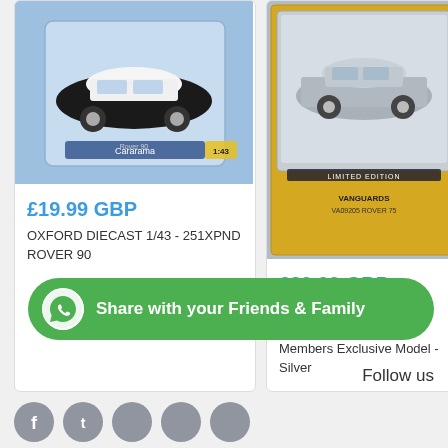[Figure (photo): Product photo of Oxford Diecast 1/43 Rover 90 model car in Cararama packaging, black and white car in blue blister pack]
£19.99 GBP
OXFORD DIECAST 1/43 - 251XPND ROVER 90
[Figure (photo): Product photo of Vanguards 1/43 Scale VA09205 Rover 75 Members Exclusive Model Silver car in yellow and grey box packaging]
£39.99 GBP
Vanguards 1/43 Scale VA09205 - Rover 75.- Members Exclusive Model - Silver
[Figure (other): Green rounded WhatsApp share button with WhatsApp logo icon and text: Share with your Friends & Family]
Follow us
[Figure (other): Row of social media circular icon buttons at the bottom of the page (partially visible)]